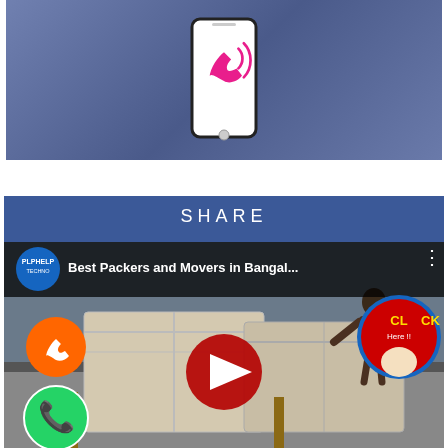[Figure (screenshot): Mobile app screenshot showing a smartphone icon with a red phone/call icon on a blue-grey background]
[Figure (screenshot): YouTube video thumbnail showing 'Best Packers and Movers in Bangal...' with packed furniture/boxes, overlaid with SHARE header in Facebook blue, orange phone icon, green WhatsApp icon, and red CLICK Here button]